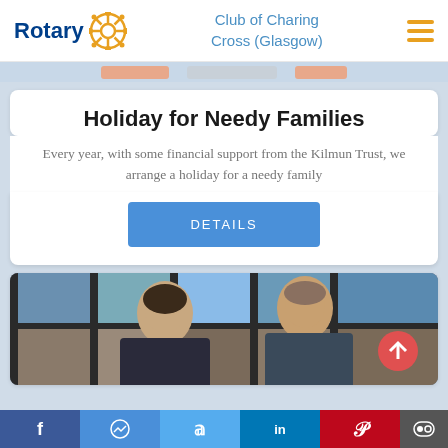Rotary Club of Charing Cross (Glasgow)
Holiday for Needy Families
Every year, with some financial support from the Kilmun Trust, we arrange a holiday for a needy family
DETAILS
[Figure (photo): Two people standing together indoors near a window]
Facebook | Messenger | Twitter | LinkedIn | Pinterest